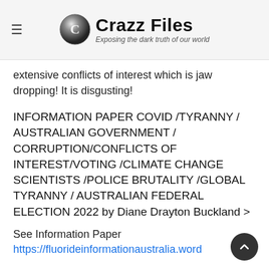Crazz Files — Exposing the dark truth of our world
extensive conflicts of interest which is jaw dropping! It is disgusting!
INFORMATION PAPER COVID /TYRANNY / AUSTRALIAN GOVERNMENT / CORRUPTION/CONFLICTS OF INTEREST/VOTING /CLIMATE CHANGE SCIENTISTS /POLICE BRUTALITY /GLOBAL TYRANNY / AUSTRALIAN FEDERAL ELECTION 2022 by Diane Drayton Buckland >
See Information Paper
https://fluorideinformationaustralia.word